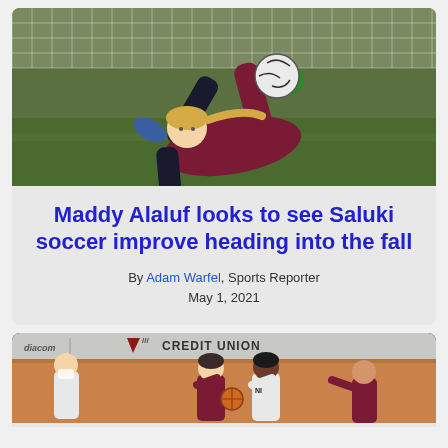[Figure (photo): Female soccer goalkeeper making a diving save, wearing maroon uniform, catching ball with green gloves on a grass field with net in background]
Maddy Alaluf looks to see Saluki soccer improve heading into the fall
By Adam Warfel, Sports Reporter
May 1, 2021
[Figure (photo): Women's basketball game action photo with players in maroon uniforms, Credit Union banner visible in background, with Mediacom signage]